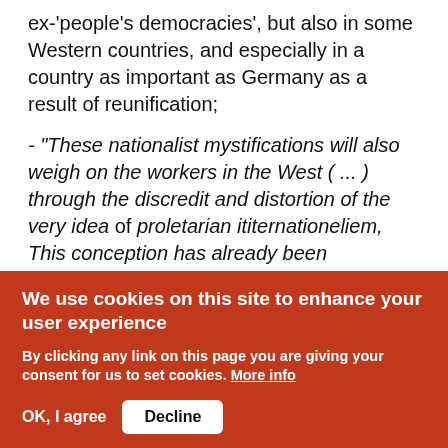ex-'people's democracies', but also in some Western countries, and especially in a country as important as Germany as a result of reunification;
- "These nationalist mystifications will also weigh on the workers in the West ( ... ) through the discredit and distortion of the very idea of proletarian ititernationeliem, This conception has already been completely disfigured by Stalinism, and in Stalinism's wake by the rest of the bourgeoisie, which identified it with the USSR's domination of it globally" (ibid).
We use cookies on this site to enhance your user experience
By clicking any link on this page you are giving your consent for us to set cookies. More info
OK, I agree   Decline